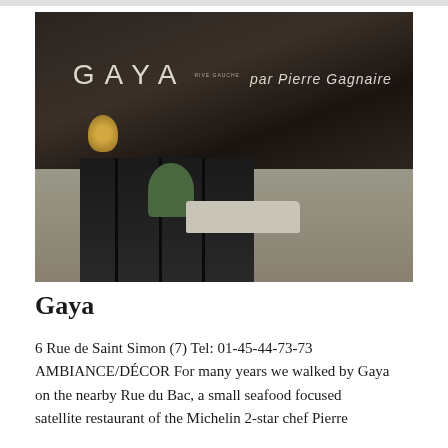[Figure (photo): Exterior photograph of Gaya restaurant in Paris, showing a dark brown awning with 'GAYA rive gauche par Pierre Gagnaire' text in white/cream lettering, Parisian street scene with buildings and cars visible in background.]
Gaya
6 Rue de Saint Simon (7) Tel: 01-45-44-73-73 AMBIANCE/DÉCOR For many years we walked by Gaya on the nearby Rue du Bac, a small seafood focused satellite restaurant of the Michelin 2-star chef Pierre